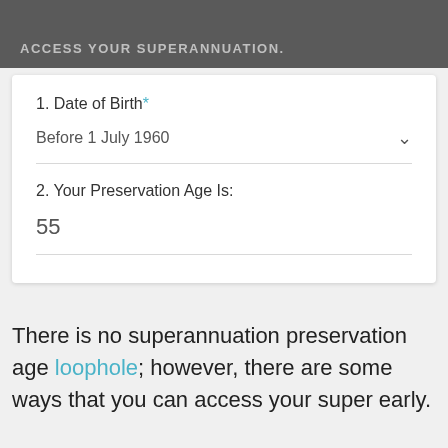ACCESS YOUR SUPERANNUATION.
1. Date of Birth*
Before 1 July 1960
2. Your Preservation Age Is:
55
There is no superannuation preservation age loophole; however, there are some ways that you can access your super early.